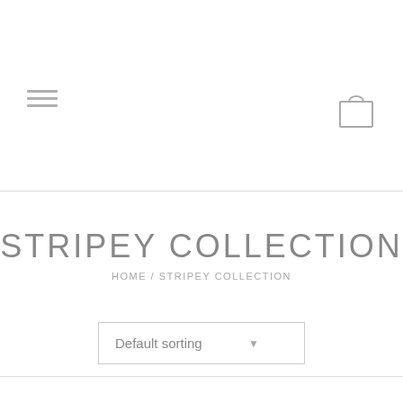[Figure (screenshot): Navigation header with hamburger menu icon on the left and shopping bag/cart icon on the right]
STRIPEY COLLECTION
HOME / STRIPEY COLLECTION
Default sorting